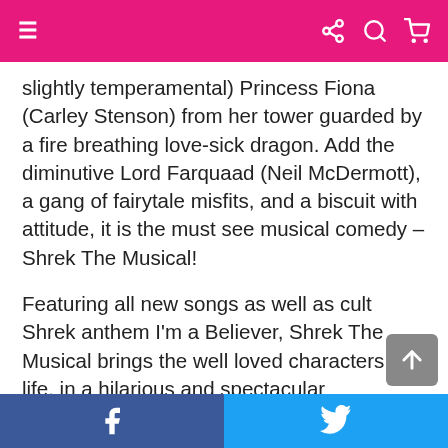Navigation bar with menu, share, search, and cart icons
slightly temperamental) Princess Fiona (Carley Stenson) from her tower guarded by a fire breathing love-sick dragon. Add the diminutive Lord Farquaad (Neil McDermott), a gang of fairytale misfits, and a biscuit with attitude, it is the must see musical comedy – Shrek The Musical!
Featuring all new songs as well as cult Shrek anthem I'm a Believer, Shrek The Musical brings the well loved characters to life, in a hilarious and spectacular production based on the story and characters from the Oscar®-winning DreamWorks Animation film. The world of fairytales is turned upside down in an all
Facebook share | Twitter share